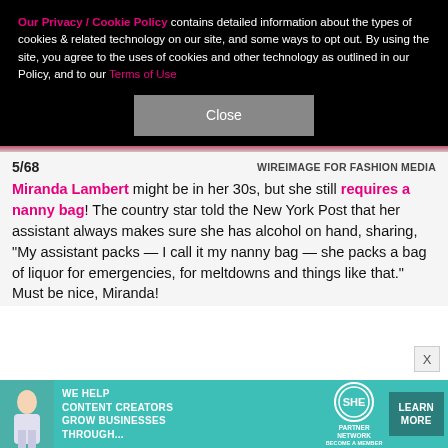Our Privacy / Cookie Policy contains detailed information about the types of cookies & related technology on our site, and some ways to opt out. By using the site, you agree to the uses of cookies and other technology as outlined in our Policy, and to our Terms of Use
Close
5/68   WIREIMAGE FOR FASHION MEDIA
Miranda Lambert might be in her 30s, but she still requires a nanny bag! The country star told the New York Post that her assistant always makes sure she has alcohol on hand, sharing, "My assistant packs — I call it my nanny bag — she packs a bag of liquor for emergencies, for meltdowns and things like that." Must be nice, Miranda!
[Figure (infographic): Advertisement banner for SHE Media Partner Network: 'We help content creators grow businesses through...' with a Learn More button]